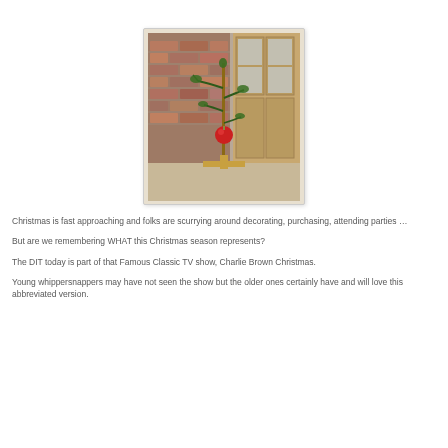[Figure (photo): A Charlie Brown Christmas tree — a thin bare sapling with sparse green branches and a single red ornament, standing on a wooden cross-shaped base, set against a brick fireplace and wooden door background.]
Christmas is fast approaching and folks are scurrying around decorating, purchasing, attending parties …
But are we remembering WHAT this Christmas season represents?
The DIT today is part of that Famous Classic TV show, Charlie Brown Christmas.
Young whippersnappers may have not seen the show but the older ones certainly have and will love this abbreviated version.